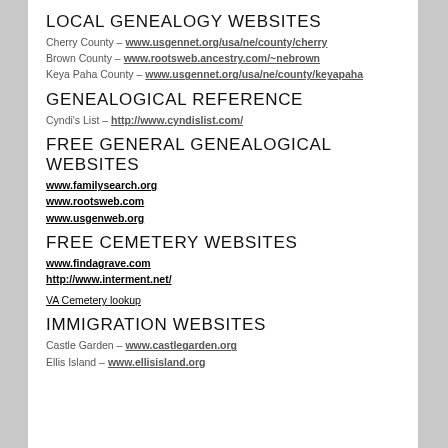LOCAL GENEALOGY WEBSITES
Cherry County – www.usgennet.org/usa/ne/county/cherry
Brown County – www.rootsweb.ancestry.com/~nebrown
Keya Paha County – www.usgennet.org/usa/ne/county/keyapaha
GENEALOGICAL REFERENCE
Cyndi's List – http://www.cyndislist.com/
FREE GENERAL GENEALOGICAL WEBSITES
www.familysearch.org
www.rootsweb.com
www.usgenweb.org
FREE CEMETERY WEBSITES
www.findagrave.com
http://www.interment.net/
VA Cemetery lookup
IMMIGRATION WEBSITES
Castle Garden – www.castlegarden.org
Ellis Island – www.ellisisland.org